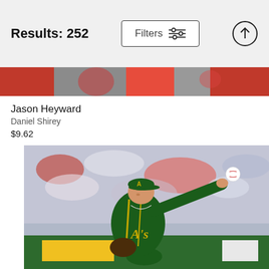Results: 252
[Figure (photo): Partial photo strip at top showing baseball player in red uniform (Jason Heyward)]
Jason Heyward
Daniel Shirey
$9.62
[Figure (photo): Oakland Athletics pitcher in green uniform mid-throw with baseball, crowd in background]